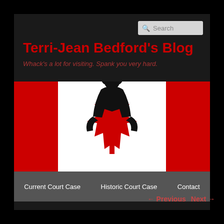Terri-Jean Bedford's Blog
Whack's a lot for visiting. Spank you very hard.
[Figure (illustration): Canadian flag with a woman in black leather jacket superimposed over the maple leaf in the center white band]
Current Court Case   Historic Court Case   Contact
← Previous   Next →